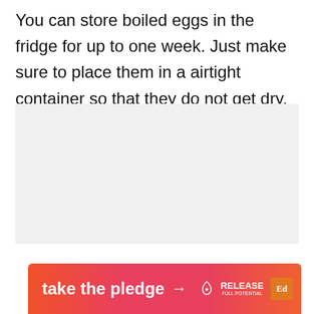You can store boiled eggs in the fridge for up to one week. Just make sure to place them in a airtight container so that they do not get dry.
[Figure (photo): Light gray rectangular image placeholder area]
[Figure (infographic): UI overlay with like count 171, heart/favorite button (white circle), and search button (teal circle)]
[Figure (infographic): Advertisement banner: orange-pink gradient background with text 'take the pledge', arrow, RELEASE logo, and an Ed icon box]